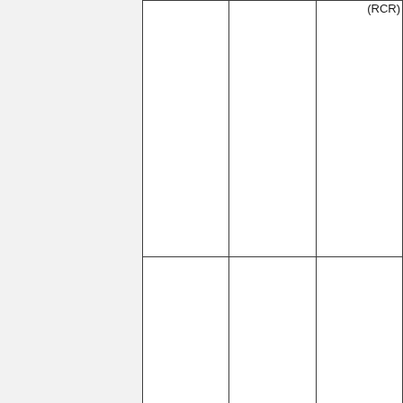|  |  | (RCR) |
| --- | --- | --- |
|  |  |  |
|  |  |  |